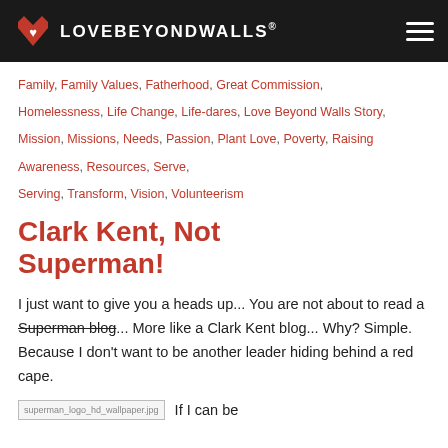LOVEBEYONDWALLS®
Family, Family Values, Fatherhood, Great Commission, Homelessness, Life Change, Life-dares, Love Beyond Walls Story, Mission, Missions, Needs, Passion, Plant Love, Poverty, Raising Awareness, Resources, Serve, Serving, Transform, Vision, Volunteerism
Clark Kent, Not Superman!
I just want to give you a heads up... You are not about to read a Superman blog... More like a Clark Kent blog... Why? Simple. Because I don't want to be another leader hiding behind a red cape.
If I can be